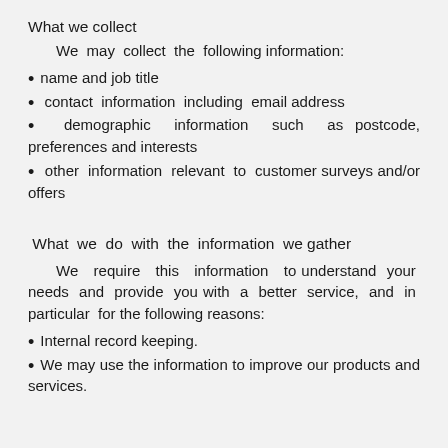What we collect
We may collect the following information:
name and job title
contact information including email address
demographic information such as postcode, preferences and interests
other information relevant to customer surveys and/or offers
What we do with the information we gather
We require this information to understand your needs and provide you with a better service, and in particular for the following reasons:
Internal record keeping.
We may use the information to improve our products and services.